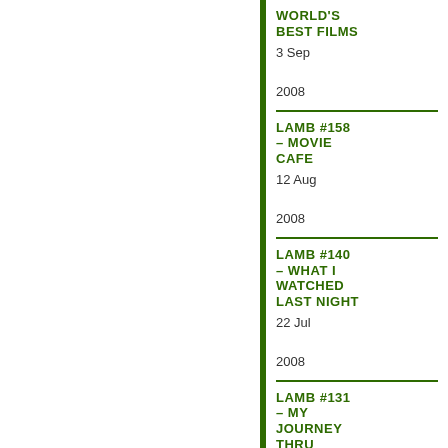WORLD'S BEST FILMS
3 Sep 2008
LAMB #158 – MOVIE CAFE
12 Aug 2008
LAMB #140 – WHAT I WATCHED LAST NIGHT
22 Jul 2008
LAMB #131 – MY JOURNEY THRU IMDB'S TOP